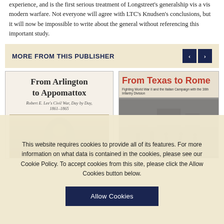experience, and is the first serious treatment of Longstreet's generalship vis a vis modern warfare. Not everyone will agree with LTC's Knudsen's conclusions, but it will now be impossible to write about the general without referencing this important study.
MORE FROM THIS PUBLISHER
[Figure (photo): Book cover: From Arlington to Appomattox – Robert E. Lee's Civil War, Day by Day, 1861–1865]
[Figure (photo): Book cover: From Texas to Rome – Fighting World War II and the Italian Campaign with the 36th Infantry Division]
This website requires cookies to provide all of its features. For more information on what data is contained in the cookies, please see our Cookie Policy. To accept cookies from this site, please click the Allow Cookies button below.